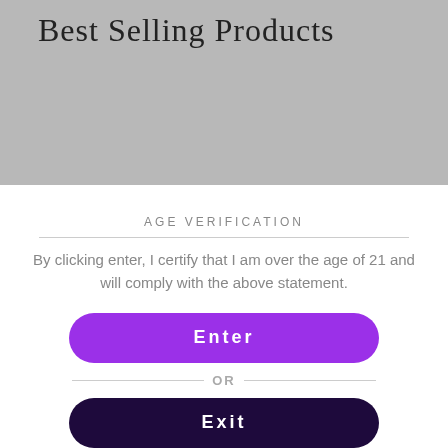Best Selling Products
AGE VERIFICATION
By clicking enter, I certify that I am over the age of 21 and will comply with the above statement.
Enter
OR
Exit